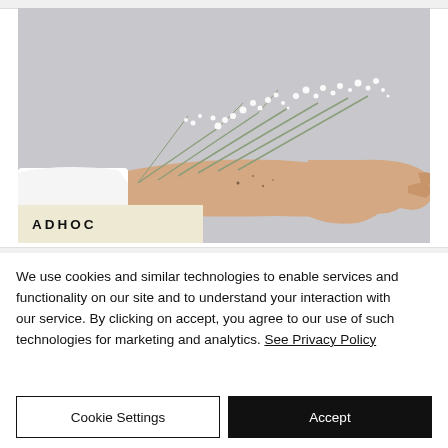[Figure (photo): A hand and forearm extending horizontally with small white baby's breath flowers resting on top of the wrist and forearm. The background is a muted grey. The person is wearing a white sleeve. There is a beige/cream label overlay at the bottom left of the image reading 'ADHOC' in bold spaced letters.]
We use cookies and similar technologies to enable services and functionality on our site and to understand your interaction with our service. By clicking on accept, you agree to our use of such technologies for marketing and analytics. See Privacy Policy
Cookie Settings
Accept